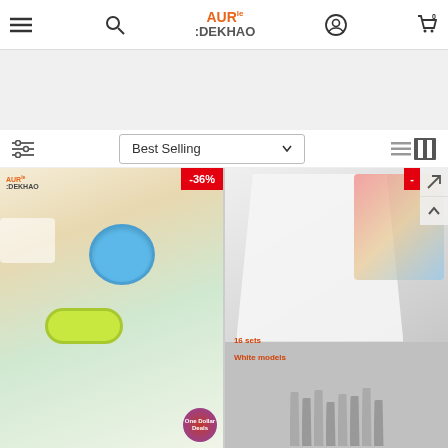AUR le :DEKHAO — e-commerce header with menu, search, account, and cart icons
[Figure (screenshot): Sort filter bar with sliders icon on left, 'Best Selling' dropdown in center, list/grid view icons on right]
[Figure (photo): Product card 1: Dumpling/pierogi maker molds in blue and yellow-green, with AUR DEKHAO watermark and -36% discount badge and One Dollar Deals sticker]
[Figure (photo): Product card 2: Cake decorating piping bag set with 16 stainless steel nozzle tips, white models, with red discount badge and navigation icons]